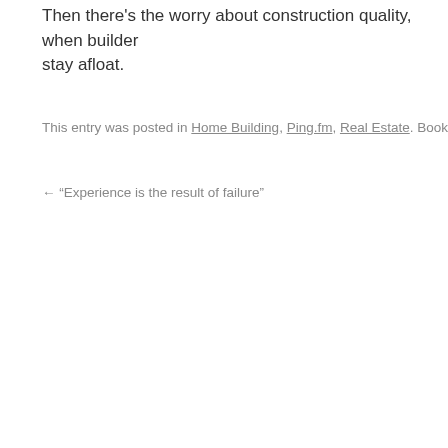Then there's the worry about construction quality, when builder stay afloat.
This entry was posted in Home Building, Ping.fm, Real Estate. Bookmark the
← "Experience is the result of failure"